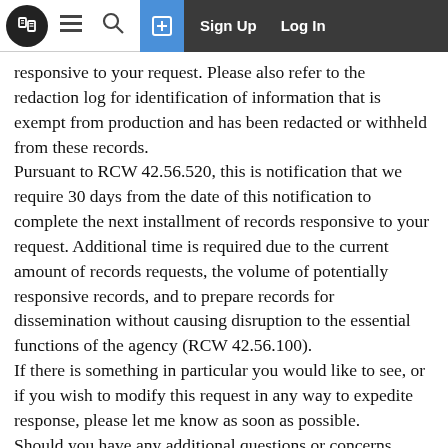Navigation bar with logo, menu, search, sign up and log in
responsive to your request. Please also refer to the redaction log for identification of information that is exempt from production and has been redacted or withheld from these records.
Pursuant to RCW 42.56.520, this is notification that we require 30 days from the date of this notification to complete the next installment of records responsive to your request. Additional time is required due to the current amount of records requests, the volume of potentially responsive records, and to prepare records for dissemination without causing disruption to the essential functions of the agency (RCW 42.56.100).
If there is something in particular you would like to see, or if you wish to modify this request in any way to expedite response, please let me know as soon as possible.
Should you have any additional questions or concerns, please let us know.
Sincerely,